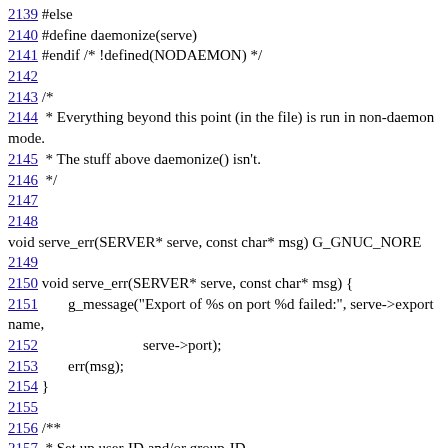2139 #else
2140 #define daemonize(serve)
2141 #endif /* !defined(NODAEMON) */
2142
2143 /*
2144  * Everything beyond this point (in the file) is run in non-daemon mode.
2145  * The stuff above daemonize() isn't.
2146  */
2147
2148
void serve_err(SERVER* serve, const char* msg) G_GNUC_NORE
2149
2150 void serve_err(SERVER* serve, const char* msg) {
2151        g_message("Export of %s on port %d failed:", serve->exportname,
2152                            serve->port);
2153        err(msg);
2154 }
2155
2156 /**
2157  * Set up user-ID and/or group-ID
2158  **/
2159 void dousers(void) {
2160        struct passwd *pw;
2161